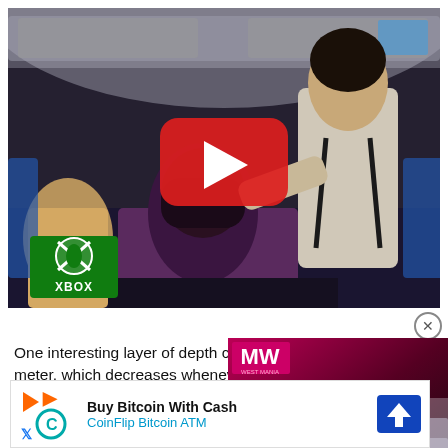[Figure (screenshot): Video thumbnail showing a video game scene inside an airplane interior with characters fighting. A large red YouTube play button is centered. An Xbox green badge with logo is in the bottom-left corner.]
One interesting layer of depth c meter, which decreases whenev such as speaking to a potential obstruction, or examining an ite your stamina bar is depleted yo which can cost you precious poi purcha your stamin s, which b your
[Figure (screenshot): PS Plus Premium/Extra August advertisement with MW logo and skier in red suit on a snowy slope.]
[Figure (screenshot): Buy Bitcoin With Cash - CoinFlip Bitcoin ATM advertisement banner with cryptocurrency icons and blue arrow sign.]